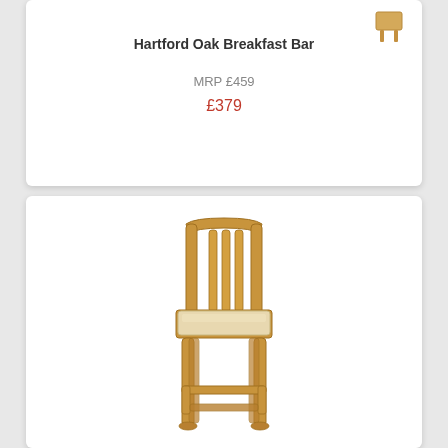[Figure (photo): Small thumbnail of Hartford Oak Breakfast Bar furniture item, top right of card]
Hartford Oak Breakfast Bar
MRP £459
£379
[Figure (photo): Oak bar stool with cream padded seat and vertical slat back, light wood frame with stretchers, full product shot on white background]